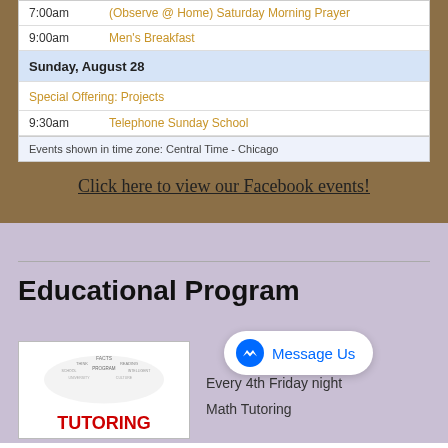| Time | Event |
| --- | --- |
| 7:00am | (Observe @ Home) Saturday Morning Prayer |
| 9:00am | Men's Breakfast |
| Sunday, August 28 |  |
| Special Offering: Projects |  |
| 9:30am | Telephone Sunday School |
Events shown in time zone: Central Time - Chicago
Click here to view our Facebook events!
Educational Program
[Figure (infographic): Word cloud / tutoring image with words like FACTS, THINK, SCHOOL, PROGRAM, READING, UNIVERSITY, CULTURE, INTELLIGENT, and large red TUTORING text at the bottom]
Every 4th Friday night
Math Tutoring
[Figure (other): Messenger icon with Message Us button]